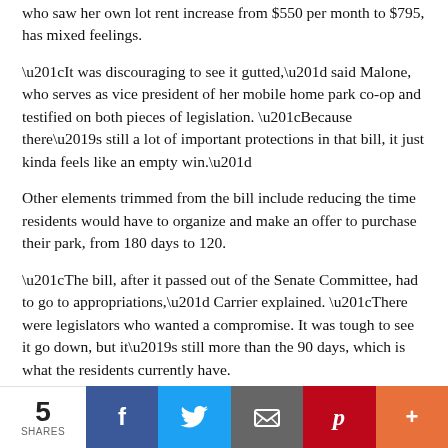who saw her own lot rent increase from $550 per month to $795, has mixed feelings.
“It was discouraging to see it gutted,” said Malone, who serves as vice president of her mobile home park co-op and testified on both pieces of legislation. “Because there’s still a lot of important protections in that bill, it just kinda feels like an empty win.”
Other elements trimmed from the bill include reducing the time residents would have to organize and make an offer to purchase their park, from 180 days to 120.
“The bill, after it passed out of the Senate Committee, had to go to appropriations,” Carrier explained. “There were legislators who wanted a compromise. It was tough to see it go down, but it’s still more than the 90 days, which is what the residents currently have.
Carrier said the group also hoped the bill would go into effect immediately after being signed by Governor Polis, but they will have to wait until Oct. 1.